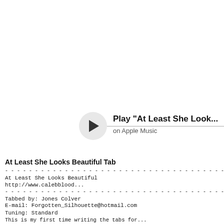[Figure (other): Play button circle with triangle icon and horizontal line]
Play "At Least She Look...
on Apple Music
At Least She Looks Beautiful Tab
- - - - - - - - - - - - - - - - - - - - - - - - - - - -
At Least She Looks Beautiful
http://www.calebblood...
- - - - - - - - - - - - - - - - - - - - - - - - - - - -
Tabbed by: Jones Colver
E-mail: Forgotten_Silhouette@hotmail.com
Tuning: Standard
This is my first time writing the tabs for...
Feel free to do whatever to make this bette...
(Verse 1)
G                C              Am
e|--------------------------------------------
B|-----------0-----------1--1-----------1-
G|-----------0--0---------0--0-----------2-